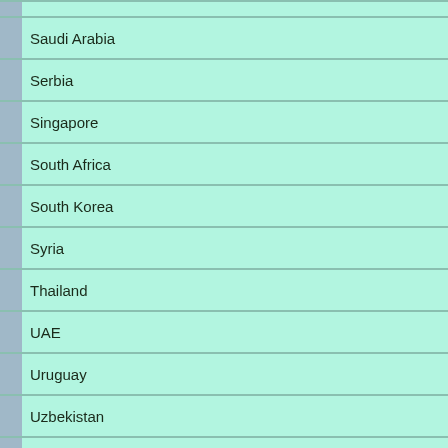Saudi Arabia
Serbia
Singapore
South Africa
South Korea
Syria
Thailand
UAE
Uruguay
Uzbekistan
Venezuela
Wales